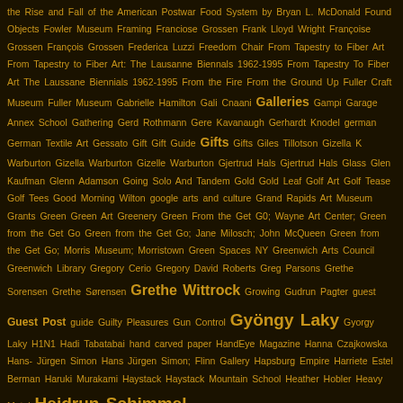the Rise and Fall of the American Postwar Food System by Bryan L. McDonald Found Objects Fowler Museum Framing Franciose Grossen Frank Lloyd Wright Françoise Grossen François Grossen Frederica Luzzi Freedom Chair From Tapestry to Fiber Art From Tapestry to Fiber Art: The Lausanne Biennals 1962-1995 From Tapestry To Fiber Art The Laussane Biennials 1962-1995 From the Fire From the Ground Up Fuller Craft Museum Fuller Museum Gabrielle Hamilton Gali Cnaani Galleries Gampi Garage Annex School Gathering Gerd Rothmann Gere Kavanaugh Gerhardt Knodel german German Textile Art Gessato Gift Gift Guide Gifts Gifts Giles Tillotson Gizella K Warburton Gizella Warburton Gizelle Warburton Gjertrud Hals Gjertrud Hals Glass Glen Kaufman Glenn Adamson Going Solo And Tandem Gold Gold Leaf Golf Art Golf Tease Golf Tees Good Morning Wilton google arts and culture Grand Rapids Art Museum Grants Green Green Art Greenery Green From the Get G0; Wayne Art Center; Green from the Get Go Green from the Get Go; Jane Milosch; John McQueen Green from the Get Go; Morris Museum; Morristown Green Spaces NY Greenwich Arts Council Greenwich Library Gregory Cerio Gregory David Roberts Greg Parsons Grethe Sorensen Grethe Sørensen Grethe Wittrock Growing Gudrun Pagter guest Guest Post guide Guilty Pleasures Gun Control Gyöngy Laky Gyorgy Laky H1N1 Hadi Tabatabai hand carved paper HandEye Magazine Hanna Czajkowska Hans-Jürgen Simon Hans Jürgen Simon; Flinn Gallery Hapsburg Empire Harriete Estel Berman Haruki Murakami Haystack Haystack Mountain School Heather Hobler Heavy Metal Heidrun Schimmel